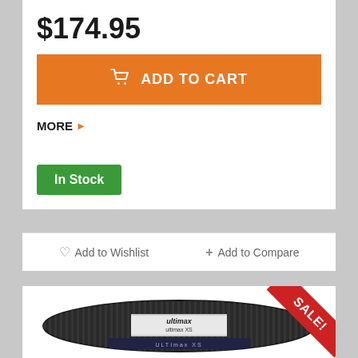$174.95
ADD TO CART
MORE
In Stock
Add to Wishlist
Add to Compare
[Figure (photo): Ultimax drive belt product photo with SALE ribbon in top right corner]